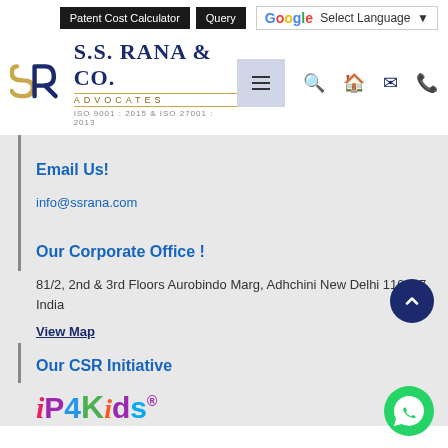Patent Cost Calculator | Query | Select Language
[Figure (logo): S.S. Rana & Co. Advocates logo with SR monogram in gold and navy blue. ISO 9001:2015 & ISO 27001:2013 certified.]
Email Us!
info@ssrana.com
Our Corporate Office !
81/2, 2nd & 3rd Floors Aurobindo Marg, Adhchini New Delhi 110017, India
View Map
Our CSR Initiative
[Figure (logo): IP4Kids colorful logo with stylized letters in multiple colors]